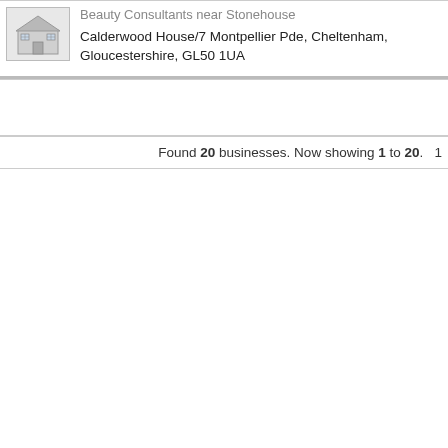[Figure (illustration): Generic building/business icon — grey illustrated house/office building]
Beauty Consultants near Stonehouse
Calderwood House/7 Montpellier Pde, Cheltenham, Gloucestershire, GL50 1UA
Found 20 businesses. Now showing 1 to 20.   1